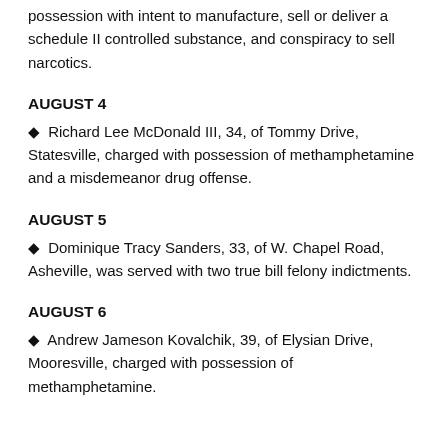possession with intent to manufacture, sell or deliver a schedule II controlled substance, and conspiracy to sell narcotics.
AUGUST 4
Richard Lee McDonald III, 34, of Tommy Drive, Statesville, charged with possession of methamphetamine and a misdemeanor drug offense.
AUGUST 5
Dominique Tracy Sanders, 33, of W. Chapel Road, Asheville, was served with two true bill felony indictments.
AUGUST 6
Andrew Jameson Kovalchik, 39, of Elysian Drive, Mooresville, charged with possession of methamphetamine.